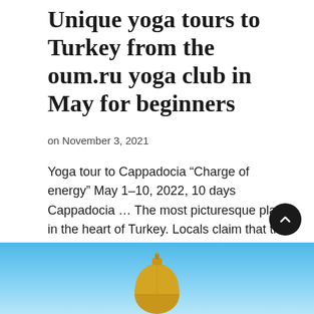Unique yoga tours to Turkey from the oum.ru yoga club in May for beginners
on November 3, 2021
Yoga tour to Cappadocia “Charge of energy” May 1–10, 2022, 10 days Cappadocia … The most picturesque place in the heart of Turkey. Locals claim that this is the most …
Read More →
[Figure (photo): Bottom portion of page showing a blue sky with the top of a golden dome structure visible at the bottom center.]